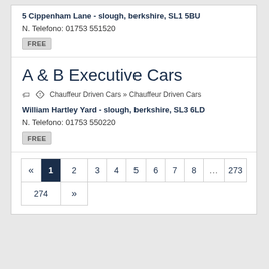5 Cippenham Lane - slough, berkshire, SL1 5BU
N. Telefono: 01753 551520
FREE
A & B Executive Cars
Chauffeur Driven Cars » Chauffeur Driven Cars
William Hartley Yard - slough, berkshire, SL3 6LD
N. Telefono: 01753 550220
FREE
« 1 2 3 4 5 6 7 8 ... 273 274 »